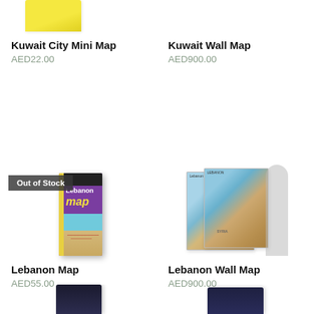[Figure (photo): Kuwait City Mini Map product image (partial, yellow folded map at top)]
[Figure (photo): Kuwait Wall Map product image (partial at top)]
Kuwait City Mini Map
AED22.00
Kuwait Wall Map
AED900.00
[Figure (photo): Lebanon Map book product image with 'Out of Stock' badge. Purple cover with yellow 'Lebanon map' text.]
[Figure (photo): Lebanon Wall Map product image showing overlapping map panels with Lebanon and Syria regions visible.]
Lebanon Map
AED55.00
Lebanon Wall Map
AED900.00
[Figure (photo): Partial product image at bottom left (dark spine of a map/book)]
[Figure (photo): Partial product image at bottom right (dark map product)]